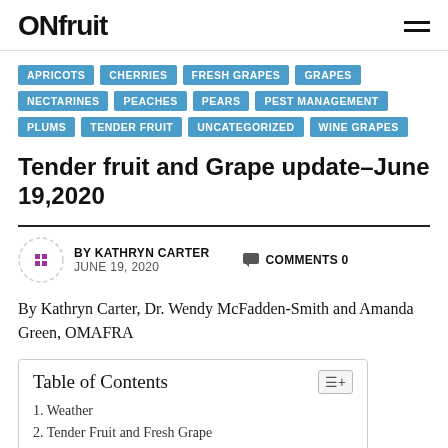ONfruit
APRICOTS
CHERRIES
FRESH GRAPES
GRAPES
NECTARINES
PEACHES
PEARS
PEST MANAGEMENT
PLUMS
TENDER FRUIT
UNCATEGORIZED
WINE GRAPES
Tender fruit and Grape update–June 19,2020
BY KATHRYN CARTER
JUNE 19, 2020
COMMENTS 0
By Kathryn Carter, Dr. Wendy McFadden-Smith and Amanda Green, OMAFRA
Table of Contents
1. Weather
2. Tender Fruit and Fresh Grape